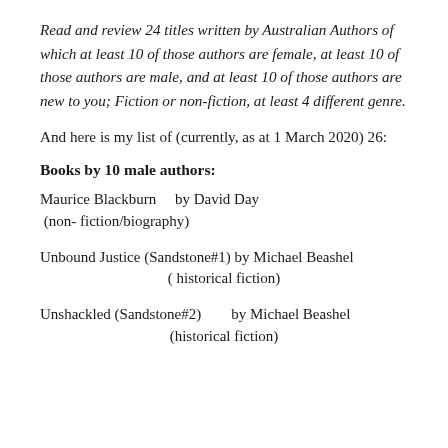Read and review 24 titles written by Australian Authors of which at least 10 of those authors are female, at least 10 of those authors are male, and at least 10 of those authors are new to you; Fiction or non-fiction, at least 4 different genre.
And here is my list of (currently, as at 1 March 2020) 26:
Books by 10 male authors:
Maurice Blackburn     by David Day (non- fiction/biography)
Unbound Justice (Sandstone#1) by Michael Beashel (historical fiction)
Unshackled (Sandstone#2)        by Michael Beashel (historical fiction)